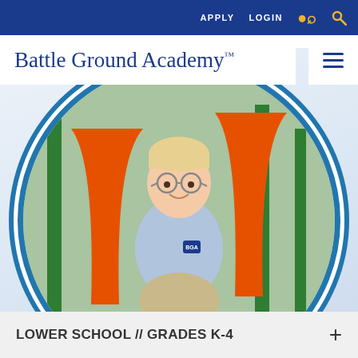APPLY   LOGIN   🔍
Battle Ground Academy™
[Figure (photo): A young boy wearing glasses and a school uniform (light blue polo shirt, khaki shorts, navy sneakers) sitting on playground equipment with colorful orange and green structures in the background. The photo is displayed inside a circular frame with a blue border.]
LOWER SCHOOL // GRADES K-4